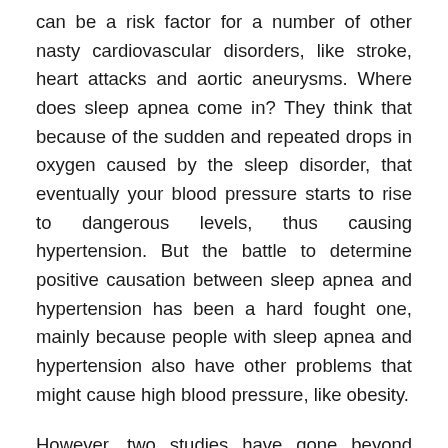can be a risk factor for a number of other nasty cardiovascular disorders, like stroke, heart attacks and aortic aneurysms. Where does sleep apnea come in? They think that because of the sudden and repeated drops in oxygen caused by the sleep disorder, that eventually your blood pressure starts to rise to dangerous levels, thus causing hypertension. But the battle to determine positive causation between sleep apnea and hypertension has been a hard fought one, mainly because people with sleep apnea and hypertension also have other problems that might cause high blood pressure, like obesity.
However, two studies have gone beyond causation and straight to the nitty-gritty of the matter: